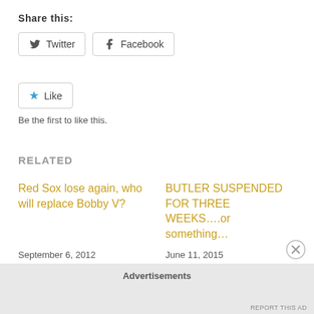Share this:
[Figure (other): Twitter and Facebook share buttons]
[Figure (other): Like button with star icon]
Be the first to like this.
RELATED
Red Sox lose again, who will replace Bobby V?
September 6, 2012
In "Morning Links"
BUTLER SUSPENDED FOR THREE WEEKS….or something…
June 11, 2015
In "Morning Links"
Advertisements